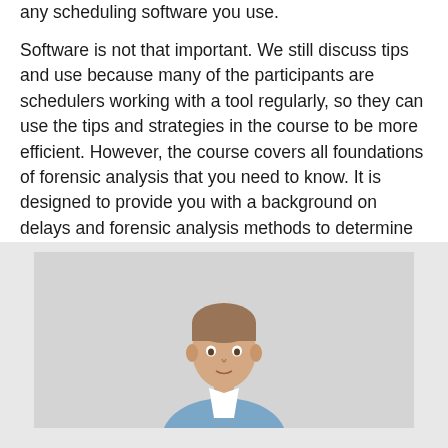any scheduling software you use.
Software is not that important. We still discuss tips and use because many of the participants are schedulers working with a tool regularly, so they can use the tips and strategies in the course to be more efficient. However, the course covers all foundations of forensic analysis that you need to know. It is designed to provide you with a background on delays and forensic analysis methods to determine delays, and that represents most of the sessions.
[Figure (photo): Photo of a young man in a suit, cropped at the top of the frame, shown from approximately the shoulders up]